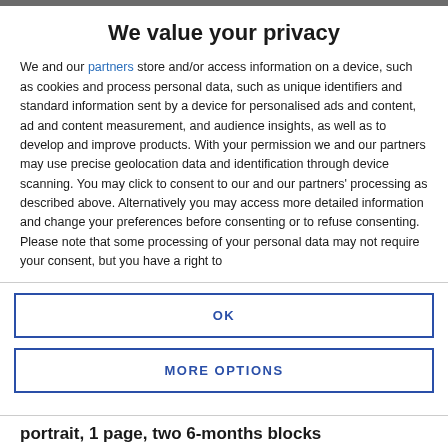We value your privacy
We and our partners store and/or access information on a device, such as cookies and process personal data, such as unique identifiers and standard information sent by a device for personalised ads and content, ad and content measurement, and audience insights, as well as to develop and improve products. With your permission we and our partners may use precise geolocation data and identification through device scanning. You may click to consent to our and our partners' processing as described above. Alternatively you may access more detailed information and change your preferences before consenting or to refuse consenting. Please note that some processing of your personal data may not require your consent, but you have a right to
OK
MORE OPTIONS
portrait, 1 page, two 6-months blocks